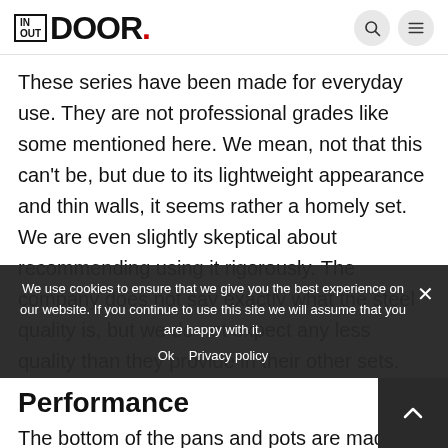IN OUT DOOR.
These series have been made for everyday use. They are not professional grades like some mentioned here. We mean, not that this can't be, but due to its lightweight appearance and thin walls, it seems rather a homely set. We are even slightly skeptical about recommending using it rigorously. The company does not say exactly what the steel quality is, but we do not expect any less quality than they provide in their other sets.
Performance
The bottom of the pans and pots are made out of magnetic 18/0 stainless steel in order to make th